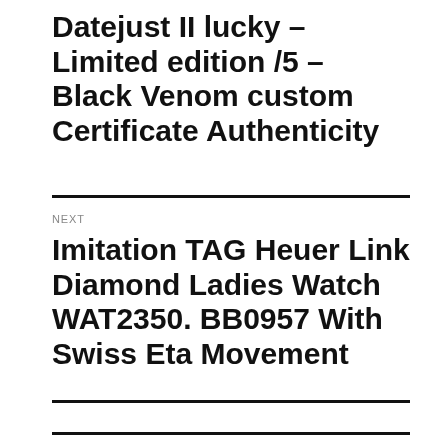Datejust II lucky – Limited edition /5 – Black Venom custom Certificate Authenticity
NEXT
Imitation TAG Heuer Link Diamond Ladies Watch WAT2350. BB0957 With Swiss Eta Movement